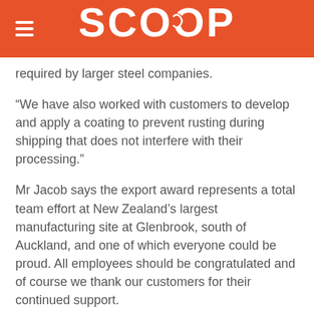SCOOP
required by larger steel companies.
“We have also worked with customers to develop and apply a coating to prevent rusting during shipping that does not interfere with their processing.”
Mr Jacob says the export award represents a total team effort at New Zealand’s largest manufacturing site at Glenbrook, south of Auckland, and one of which everyone could be proud. All employees should be congratulated and of course we thank our customers for their continued support.
About a third of New Zealand Steel’s total exports go to the West Coast of the US.
ends